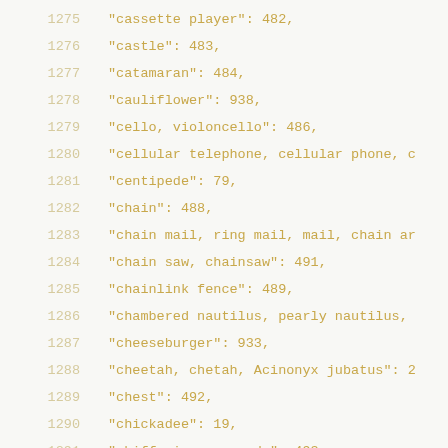1275    "cassette player": 482,
1276    "castle": 483,
1277    "catamaran": 484,
1278    "cauliflower": 938,
1279    "cello, violoncello": 486,
1280    "cellular telephone, cellular phone, c
1281    "centipede": 79,
1282    "chain": 488,
1283    "chain mail, ring mail, mail, chain ar
1284    "chain saw, chainsaw": 491,
1285    "chainlink fence": 489,
1286    "chambered nautilus, pearly nautilus,
1287    "cheeseburger": 933,
1288    "cheetah, chetah, Acinonyx jubatus": 2
1289    "chest": 492,
1290    "chickadee": 19,
1291    "chiffonier, commode": 493,
1292    "chime, bell, gong": 494,
1293    "chimpanzee, chimp, Pan troglodytes":
1294    "china cabinet, china closet": 495,